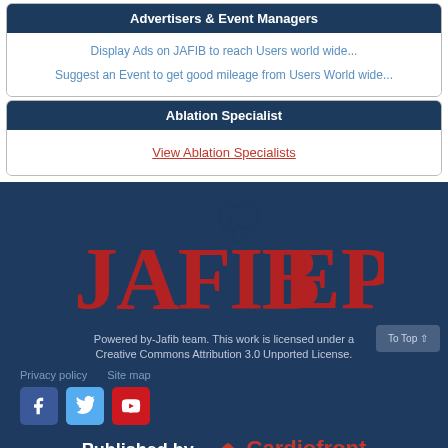Advertisers & Event Managers
Display Ads on JAFIB to reach Users world wide...
Suggest an Event to get good mileage from Users World wide...
Ablation Specialist
View Ablation Specialists
[Figure (logo): JAFIB EP logo in red text on dark navy background with heart/EKG graphic]
Powered by-Jafib team. This work is licensed under a Creative Commons Attribution 3.0 Unported License.
Privacy policy   Site map
[Figure (logo): Social media icons: Facebook (blue), Twitter (light blue), YouTube (red)]
Published by - Cardiofront